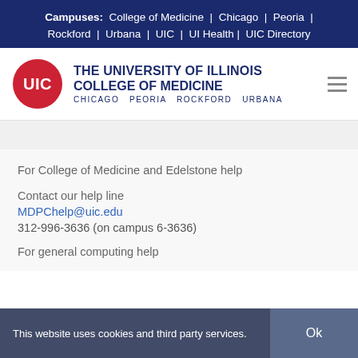Campuses: College of Medicine | Chicago | Peoria | Rockford | Urbana | UIC | UI Health | UIC Directory
[Figure (logo): UIC red circle logo with 'UIC' text, followed by 'The University of Illinois College of Medicine' wordmark with 'Chicago Peoria Rockford Urbana' subtitle]
For College of Medicine and Edelstone help
Contact our help line
MDPChelp@uic.edu
312-996-3636 (on campus 6-3636)
For general computing help
This website uses cookies and third party services.